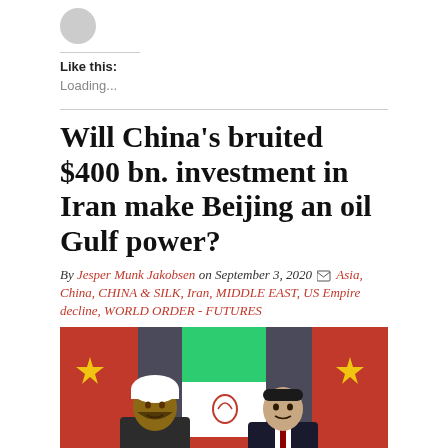[Figure (logo): Small circular grey logo icon]
Like this:
Loading...
Will China's bruited $400 bn. investment in Iran make Beijing an oil Gulf power?
By Jesper Munk Jakobsen on September 3, 2020  Asia, China, CHINA & SILK, Iran, MIDDLE EAST, US Empire decline, WORLD ORDER - FUTURES
[Figure (photo): Photo of two political leaders standing in front of Chinese and Iranian flags]